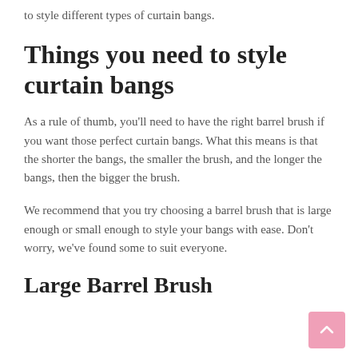to style different types of curtain bangs.
Things you need to style curtain bangs
As a rule of thumb, you’ll need to have the right barrel brush if you want those perfect curtain bangs. What this means is that the shorter the bangs, the smaller the brush, and the longer the bangs, then the bigger the brush.
We recommend that you try choosing a barrel brush that is large enough or small enough to style your bangs with ease. Don’t worry, we’ve found some to suit everyone.
Large Barrel Brush